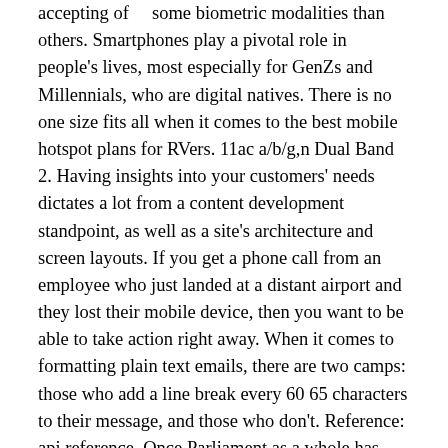accepting of    some biometric modalities than others. Smartphones play a pivotal role in people's lives, most especially for GenZs and Millennials, who are digital natives. There is no one size fits all when it comes to the best mobile hotspot plans for RVers. 11ac a/b/g,n Dual Band 2. Having insights into your customers' needs dictates a lot from a content development standpoint, as well as a site's architecture and screen layouts. If you get a phone call from an employee who just landed at a distant airport and they lost their mobile device, then you want to be able to take action right away. When it comes to formatting plain text emails, there are two camps: those who add a line break every 60 65 characters to their message, and those who don't. Reference: api reference. Once Parliament as a whole has approved this draft negotiating position at the May plenary session, MEPs will be ready to start talks with EU governments on the final shape of the legislation. Set end points and benefit from real life interactions on real world devices. An RWD or responsive website design doesn't have a fixed layout for specific devices. This means that at times we need to learn how to use new technologies for old browsers, but have a fallback for browsers